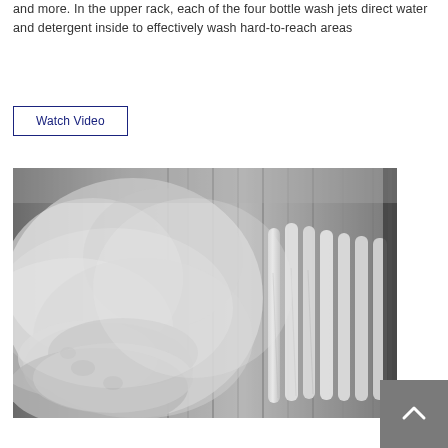and more. In the upper rack, each of the four bottle wash jets direct water and detergent inside to effectively wash hard-to-reach areas
Watch Video
[Figure (photo): Black and white photograph of the inside of a dishwasher showing dishes being washed with water and steam visible]